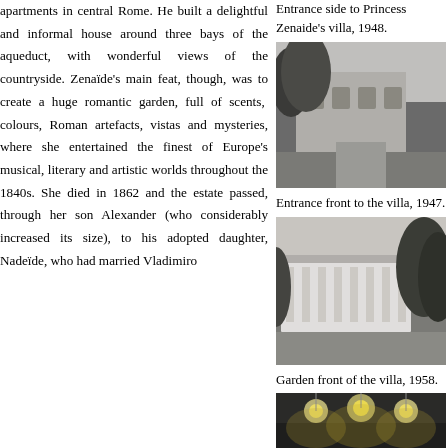apartments in central Rome. He built a delightful and informal house around three bays of the aqueduct, with wonderful views of the countryside. Zenaïde's main feat, though, was to create a huge romantic garden, full of scents, colours, Roman artefacts, vistas and mysteries, where she entertained the finest of Europe's musical, literary and artistic worlds throughout the 1840s. She died in 1862 and the estate passed, through her son Alexander (who considerably increased its size), to his adopted daughter, Nadeïde, who had married Vladimiro
Entrance side to Princess Zenaide's villa, 1948.
[Figure (photo): Black and white photograph of entrance side to Princess Zenaide's villa, 1948, showing trees and building facade.]
Entrance front to the villa, 1947.
[Figure (photo): Black and white photograph of entrance front to villa, 1947, showing large white villa with trees.]
Garden front of the villa, 1958.
[Figure (photo): Black and white photograph of garden front of villa, 1958, showing interior with chandelier lights.]